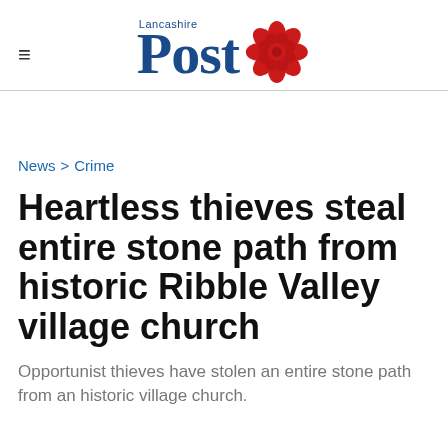Lancashire Post
News > Crime
Heartless thieves steal entire stone path from historic Ribble Valley village church
Opportunist thieves have stolen an entire stone path from an historic village church.